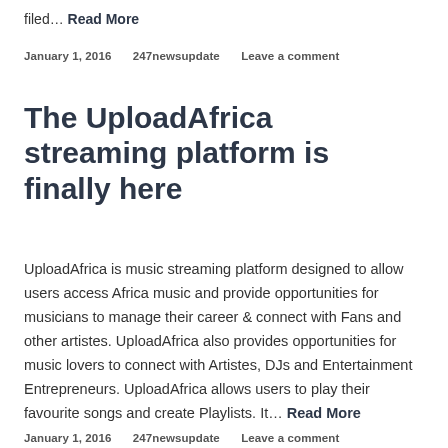filed… Read More
January 1, 2016    247newsupdate    Leave a comment
The UploadAfrica streaming platform is finally here
UploadAfrica is music streaming platform designed to allow users access Africa music and provide opportunities for musicians to manage their career & connect with Fans and other artistes. UploadAfrica also provides opportunities for music lovers to connect with Artistes, DJs and Entertainment Entrepreneurs. UploadAfrica allows users to play their favourite songs and create Playlists. It… Read More
January 1, 2016    247newsupdate    Leave a comment